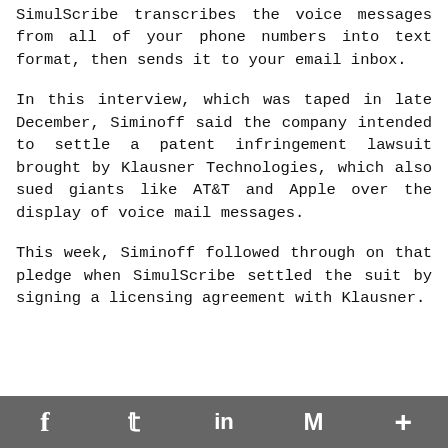SimulScribe transcribes the voice messages from all of your phone numbers into text format, then sends it to your email inbox.
In this interview, which was taped in late December, Siminoff said the company intended to settle a patent infringement lawsuit brought by Klausner Technologies, which also sued giants like AT&T and Apple over the display of voice mail messages.
This week, Siminoff followed through on that pledge when SimulScribe settled the suit by signing a licensing agreement with Klausner.
f  t  in  M  +